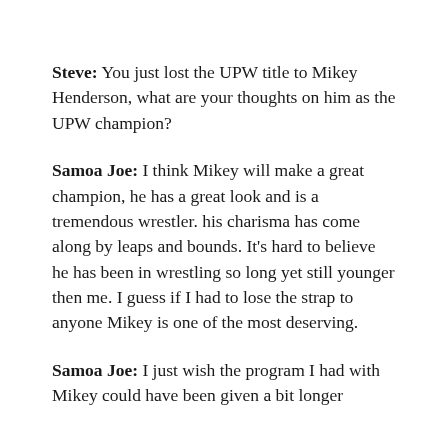Steve: You just lost the UPW title to Mikey Henderson, what are your thoughts on him as the UPW champion?
Samoa Joe: I think Mikey will make a great champion, he has a great look and is a tremendous wrestler. his charisma has come along by leaps and bounds. It's hard to believe he has been in wrestling so long yet still younger then me. I guess if I had to lose the strap to anyone Mikey is one of the most deserving.
Samoa Joe: I just wish the program I had with Mikey could have been given a bit longer